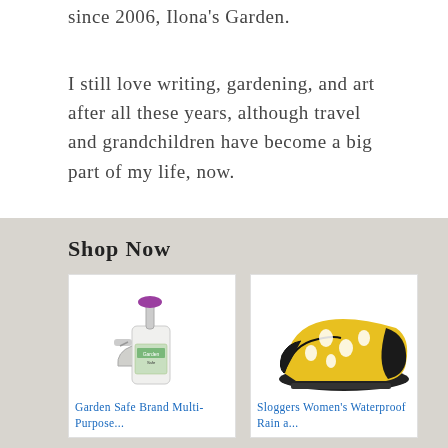since 2006, Ilona's Garden.
I still love writing, gardening, and art after all these years, although travel and grandchildren have become a big part of my life, now.
Shop Now
[Figure (photo): Garden Safe Brand Multi-Purpose spray bottle product image]
Garden Safe Brand Multi-Purpose...
[Figure (photo): Sloggers Women's Waterproofed yellow patterned garden shoe with chicken print]
Sloggers Women's Waterproof Rain a...